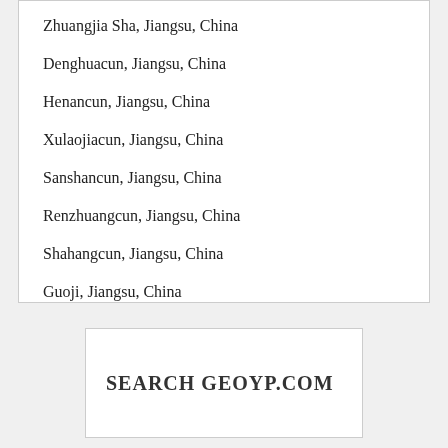Zhuangjia Sha, Jiangsu, China
Denghuacun, Jiangsu, China
Henancun, Jiangsu, China
Xulaojiacun, Jiangsu, China
Sanshancun, Jiangsu, China
Renzhuangcun, Jiangsu, China
Shahangcun, Jiangsu, China
Guoji, Jiangsu, China
SEARCH GEOYP.COM